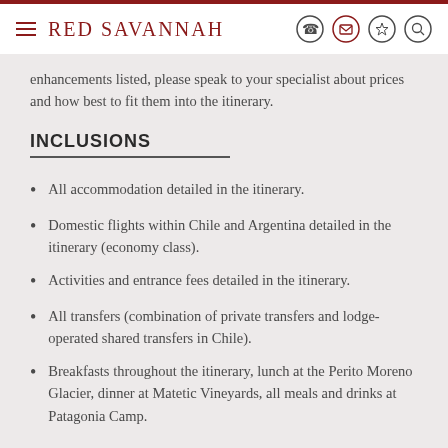Red Savannah
enhancements listed, please speak to your specialist about prices and how best to fit them into the itinerary.
INCLUSIONS
All accommodation detailed in the itinerary.
Domestic flights within Chile and Argentina detailed in the itinerary (economy class).
Activities and entrance fees detailed in the itinerary.
All transfers (combination of private transfers and lodge-operated shared transfers in Chile).
Breakfasts throughout the itinerary, lunch at the Perito Moreno Glacier, dinner at Matetic Vineyards, all meals and drinks at Patagonia Camp.